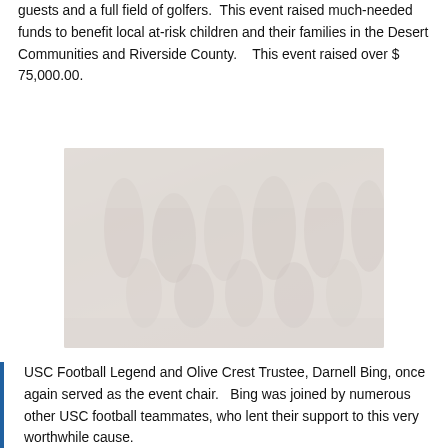guests and a full field of golfers.  This event raised much-needed funds to benefit local at-risk children and their families in the Desert Communities and Riverside County.   This event raised over $ 75,000.00.
[Figure (photo): Group photo of USC football players and supporters at an outdoor event, faded/washed out appearance]
USC Football Legend and Olive Crest Trustee, Darnell Bing, once again served as the event chair.   Bing was joined by numerous other USC football teammates, who lent their support to this very worthwhile cause.